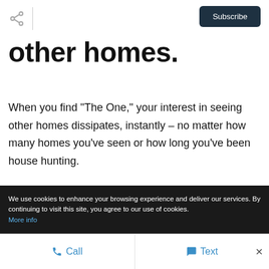Subscribe
other homes.
When you find "The One," your interest in seeing other homes dissipates, instantly – no matter how many homes you've seen or how long you've been house hunting.
We use cookies to enhance your browsing experience and deliver our services. By continuing to visit this site, you agree to our use of cookies. More info
Call   Text